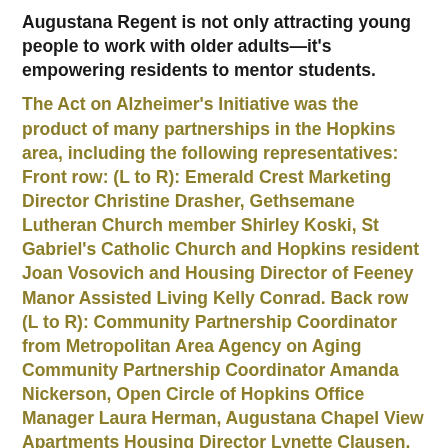Augustana Regent is not only attracting young people to work with older adults—it's empowering residents to mentor students.
The Act on Alzheimer's Initiative was the product of many partnerships in the Hopkins area, including the following representatives: Front row: (L to R): Emerald Crest Marketing Director Christine Drasher, Gethsemane Lutheran Church member Shirley Koski, St Gabriel's Catholic Church and Hopkins resident Joan Vosovich and Housing Director of Feeney Manor Assisted Living Kelly Conrad. Back row (L to R): Community Partnership Coordinator from Metropolitan Area Agency on Aging Community Partnership Coordinator Amanda Nickerson, Open Circle of Hopkins Office Manager Laura Herman, Augustana Chapel View Apartments Housing Director Lynette Clausen, Hopkins Fire Chief Dale Specken, Minnetonka resident Sarah Kissock and Augustana Care